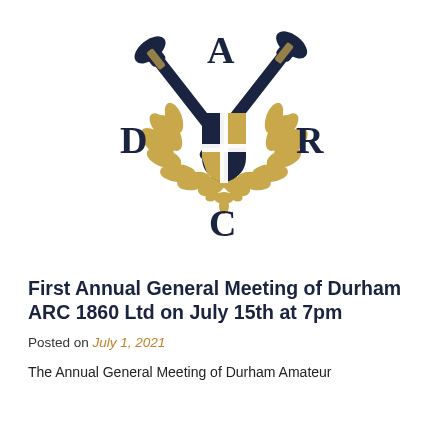[Figure (logo): DARC logo with crossed oars, gold laurel wreath, and heraldic shield with letters D, A, R, C]
First Annual General Meeting of Durham ARC 1860 Ltd on July 15th at 7pm
Posted on July 1, 2021
The Annual General Meeting of Durham Amateur